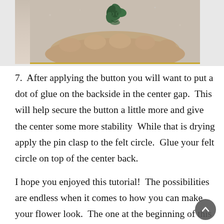[Figure (photo): Photo of a hand holding a green fabric flower/rosette against a light background]
7.  After applying the button you will want to put a dot of glue on the backside in the center gap.  This will help secure the button a little more and give the center some more stability  While that is drying apply the pin clasp to the felt circle.  Glue your felt circle on top of the center back.
I hope you enjoyed this tutorial!  The possibilities are endless when it comes to how you can make your flower look.  The one at the beginning of this tutorial has both layers made from the same plaid with the